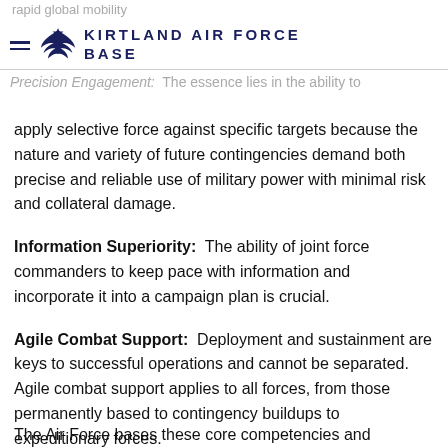rapid global mobility
Kirtland Air Force Base
Precision Engagement: The essence lies in the ability to
apply selective force against specific targets because the nature and variety of future contingencies demand both precise and reliable use of military power with minimal risk and collateral damage.
Information Superiority: The ability of joint force commanders to keep pace with information and incorporate it into a campaign plan is crucial.
Agile Combat Support: Deployment and sustainment are keys to successful operations and cannot be separated. Agile combat support applies to all forces, from those permanently based to contingency buildups to expeditionary forces.
The Air Force bases these core competencies and